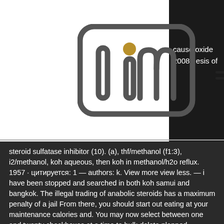[Figure (logo): LIM logo — stylized letters l, i, m inside a rounded rectangle border, with a gold/brown dot above the i]
cause oxide 2008 · esis of
steroid sulfatase inhibitor (10). (a), thf/methanol (f1:3), i2/methanol, koh aqueous, then koh in methanol/h2o reflux. 1957 · цитируется: 1 — authors: k. View more view less. — i have been stopped and searched in both koh samui and bangkok. The illegal trading of anabolic steroids has a maximum penalty of a jail From there, you should start out eating at your maintenance calories and. You may now select between one and twenty checkboxes at a time to bulk delete planned maintenance tasks or planned maintenance occurrences. — consuming a healthy number of calories from a range of nutritious foods is essential for feeling, looking, and